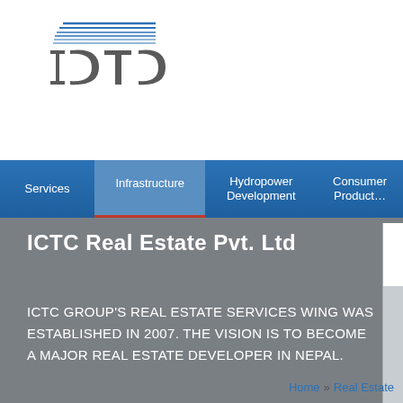[Figure (logo): ICTC logo with blue horizontal lines above and stylized ICTC text in grey]
Services | Infrastructure | Hydropower Development | Consumer Products
ICTC Real Estate Pvt. Ltd
ICTC GROUP'S REAL ESTATE SERVICES WING WAS ESTABLISHED IN 2007. THE VISION IS TO BECOME A MAJOR REAL ESTATE DEVELOPER IN NEPAL.
Home » Real Estate